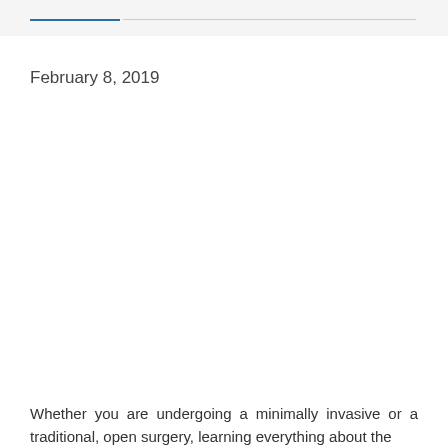February 8, 2019
Whether you are undergoing a minimally invasive or a traditional, open surgery, learning everything about the